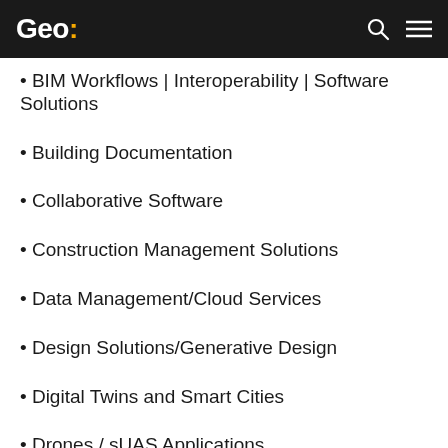Geo:
BIM Workflows | Interoperability | Software Solutions
Building Documentation
Collaborative Software
Construction Management Solutions
Data Management/Cloud Services
Design Solutions/Generative Design
Digital Twins and Smart Cities
Drones / sUAS Applications